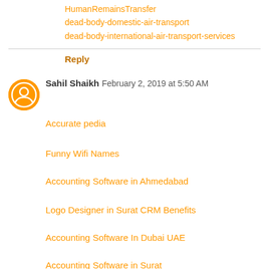HumanRemainsTransfer
dead-body-domestic-air-transport
dead-body-international-air-transport-services
Reply
Sahil Shaikh  February 2, 2019 at 5:50 AM
Accurate pedia
Funny Wifi Names
Accounting Software in Ahmedabad
Logo Designer in Surat CRM Benefits
Accounting Software In Dubai UAE
Accounting Software in Surat